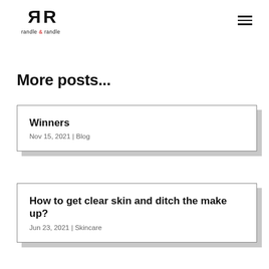randle & randle
More posts...
Winners
Nov 15, 2021 | Blog
How to get clear skin and ditch the make up?
Jun 23, 2021 | Skincare